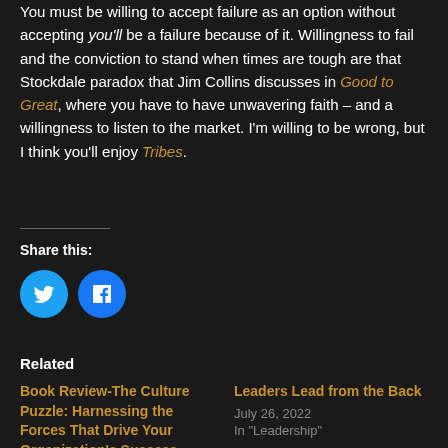You must be willing to accept failure as an option without accepting you'll be a failure because of it. Willingness to fail and the conviction to stand when times are tough are that Stockdale paradox that Jim Collins discusses in Good to Great, where you have to have unwavering faith – and a willingness to listen to the market. I'm willing to be wrong, but I think you'll enjoy Tribes.
Share this:
[Figure (infographic): Twitter and Facebook social share buttons (circular icons)]
Related
Book Review-The Culture Puzzle: Harnessing the Forces That Drive Your Organization's Success
June 6, 2022
In "Adoption and Change"
Leaders Lead from the Back
July 26, 2022
In "Leadership"